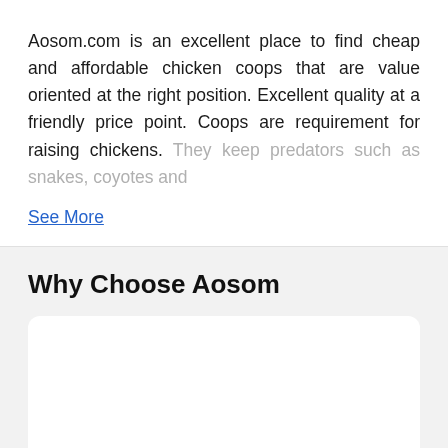Aosom.com is an excellent place to find cheap and affordable chicken coops that are value oriented at the right position. Excellent quality at a friendly price point. Coops are requirement for raising chickens. They keep predators such as snakes, coyotes and
See More
Why Choose Aosom
Free Shipping
30 Day Return Policy